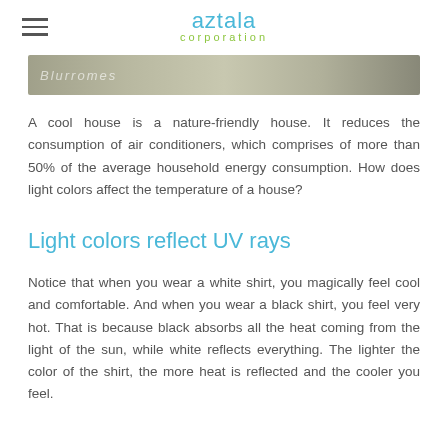aztala corporation
[Figure (photo): Partial image strip showing a blurred outdoor scene, partially cropped at top of page]
A cool house is a nature-friendly house. It reduces the consumption of air conditioners, which comprises of more than 50% of the average household energy consumption. How does light colors affect the temperature of a house?
Light colors reflect UV rays
Notice that when you wear a white shirt, you magically feel cool and comfortable. And when you wear a black shirt, you feel very hot. That is because black absorbs all the heat coming from the light of the sun, while white reflects everything. The lighter the color of the shirt, the more heat is reflected and the cooler you feel.